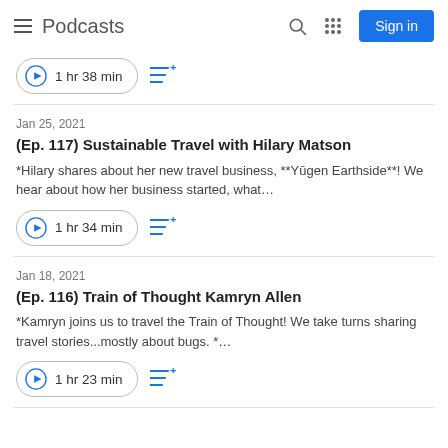Podcasts
1 hr 38 min
Jan 25, 2021
(Ep. 117) Sustainable Travel with Hilary Matson
*Hilary shares about her new travel business, **Yūgen Earthside**! We hear about how her business started, what…
1 hr 34 min
Jan 18, 2021
(Ep. 116) Train of Thought Kamryn Allen
*Kamryn joins us to travel the Train of Thought! We take turns sharing travel stories...mostly about bugs. *…
1 hr 23 min